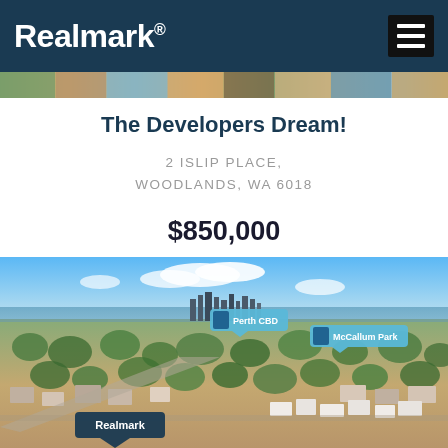Realmark
The Developers Dream!
2 ISLIP PLACE, WOODLANDS, WA 6018
$850,000
[Figure (photo): Aerial drone photograph of a suburban residential area with Perth CBD skyline visible in the background. Two location pins are overlaid: 'Perth CBD' and 'McCallum Park'. A 'Realmark' branded pin is visible at the bottom of the image.]